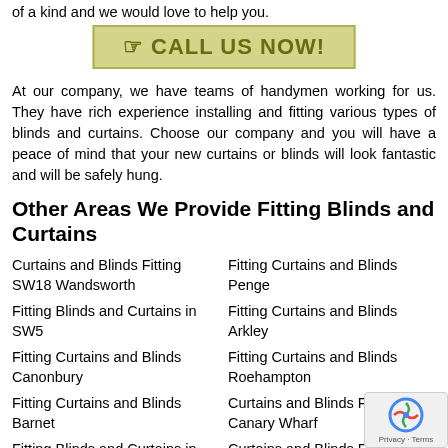of a kind and we would love to help you.
[Figure (infographic): Yellow/olive call-to-action banner with hand pointer icon and text CALL US NOW!]
At our company, we have teams of handymen working for us. They have rich experience installing and fitting various types of blinds and curtains. Choose our company and you will have a peace of mind that your new curtains or blinds will look fantastic and will be safely hung.
Other Areas We Provide Fitting Blinds and Curtains
Curtains and Blinds Fitting SW18 Wandsworth
Fitting Curtains and Blinds Penge
Fitting Blinds and Curtains in SW5
Fitting Curtains and Blinds Arkley
Fitting Curtains and Blinds Canonbury
Fitting Curtains and Blinds Roehampton
Fitting Curtains and Blinds Barnet
Curtains and Blinds Fitting E14 Canary Wharf
Fitting Blinds and Curtains in N16
Curtains and Blinds Fitting NW9 Colindale
Curtains and Blinds Services SW20